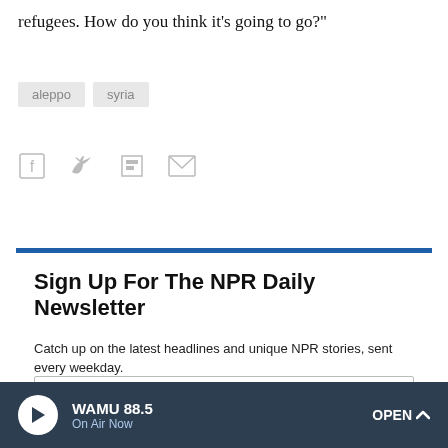refugees. How do you think it's going to go?"
aleppo   syria
[Figure (infographic): Social sharing icons: Facebook, Twitter, Flipboard, Email]
Sign Up For The NPR Daily Newsletter
Catch up on the latest headlines and unique NPR stories, sent every weekday.
What's your email?
SUBSCRIBE
WAMU 88.5
On Air Now
OPEN